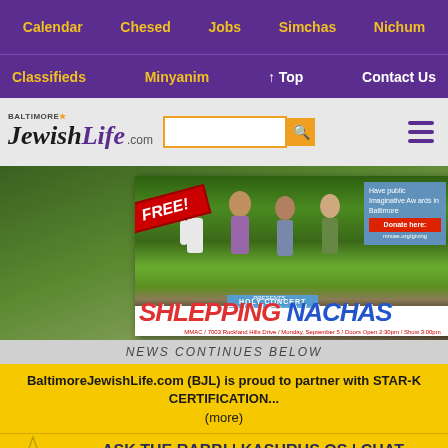Calendar | Chesed | Jobs | Simchas | Nichum
Classifieds | Minyanim | ↑ Top | Contact Us
[Figure (screenshot): Baltimore Jewish Life .com logo with search bar and hamburger menu]
[Figure (photo): Popup advertisement for a free Holy Concert featuring Shlepping Nachas band, with FREE ribbon, close button, event details: MMAC / 7003 Rockland Hills Drive / Monday, September 5 / Doors Open 2:30pm / Show 3:00pm]
NEWS CONTINUES BELOW
BaltimoreJewishLife.com (BJL) is proud to partner with STAR-K CERTIFICATION... (more)
ASK THE RABBI | KASHRUS QS | CHAT
Institute of Halacha
Halacha Questions